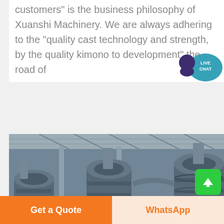customers" is the business philosophy of Xuanshi Machinery. We are always adhering to the "quality cast technology and strength, by the quality kimono to development" the road of
[Figure (photo): Industrial machinery inside a factory — multiple large gray cylindrical grinding mill machines arranged in a row under a metal roof structure.]
Cl... (partially visible section header)